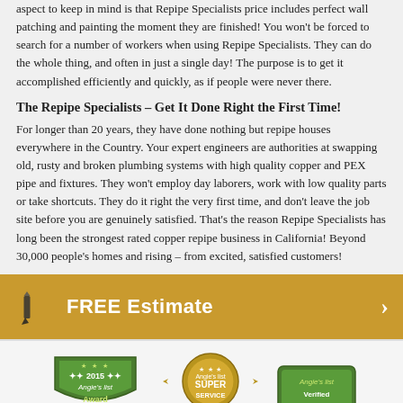aspect to keep in mind is that Repipe Specialists price includes perfect wall patching and painting the moment they are finished! You won't be forced to search for a number of workers when using Repipe Specialists. They can do the whole thing, and often in just a single day! The purpose is to get it accomplished efficiently and quickly, as if people were never there.
The Repipe Specialists – Get It Done Right the First Time!
For longer than 20 years, they have done nothing but repipe houses everywhere in the Country. Your expert engineers are authorities at swapping old, rusty and broken plumbing systems with high quality copper and PEX pipe and fixtures. They won't employ day laborers, work with low quality parts or take shortcuts. They do it right the very first time, and don't leave the job site before you are genuinely satisfied. That's the reason Repipe Specialists has long been the strongest rated copper repipe business in California! Beyond 30,000 people's homes and rising – from excited, satisfied customers!
[Figure (infographic): Gold/yellow call-to-action bar with pencil icon on left, 'FREE Estimate' text in white, and right-pointing arrow on far right]
[Figure (infographic): Row of three Angie's List award badges: 2015 badge on left, Super Service award badge in center (gold/tan sunburst), and a third Angie's List badge on right (green)]